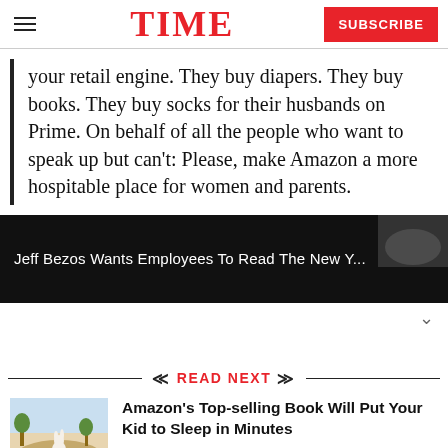TIME  SUBSCRIBE
your retail engine. They buy diapers. They buy books. They buy socks for their husbands on Prime. On behalf of all the people who want to speak up but can't: Please, make Amazon a more hospitable place for women and parents.
Jeff Bezos Wants Employees To Read The New Y...
READ NEXT
Amazon's Top-selling Book Will Put Your Kid to Sleep in Minutes